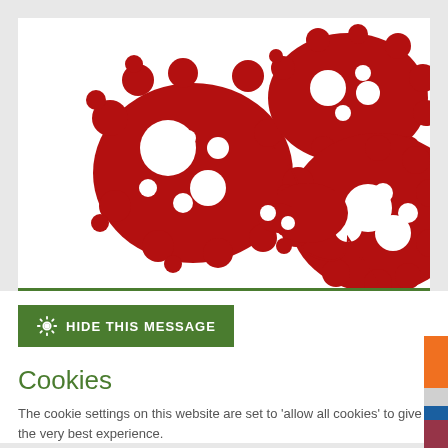[Figure (illustration): Red virus / pathogen illustration — multiple red blob shapes with knobbed protrusions on a white background, resembling bacteria or virus particles]
HIDE THIS MESSAGE
Cookies
The cookie settings on this website are set to 'allow all cookies' to give you the very best experience.